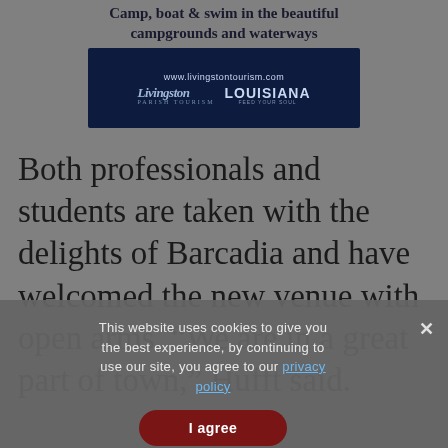Camp, boat & swim in the beautiful campgrounds and waterways
[Figure (illustration): Livingston Parish Tourism advertisement banner with dark blue background, showing logos for Livingston Parish Tourism and Louisiana Feed Your Soul, and the URL www.livingstontourism.com]
Both professionals and students are taken with the delights of Barcadia and have welcomed the new venue with open arms. “We are in a great part of town,” Hufft said.
This website uses cookies to give you the best experience, by continuing to use our site, you agree to our privacy policy
I agree